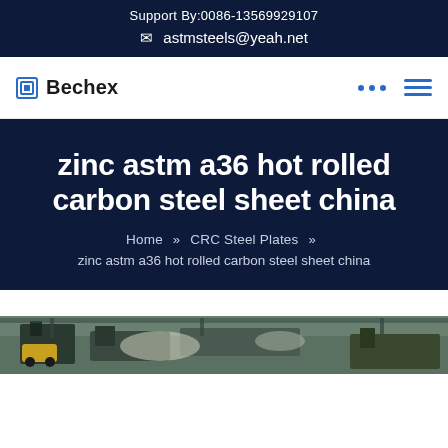Support By:0086-13569929107
✉ astmsteels@yeah.net
[Figure (logo): Bechex company logo with square icon and bold text, navigation bar with dots and hamburger menu in blue]
zinc astm a36 hot rolled carbon steel sheet china
Home » CRC Steel Plates » zinc astm a36 hot rolled carbon steel sheet china
[Figure (photo): Industrial factory floor photo showing steel manufacturing equipment and machinery]